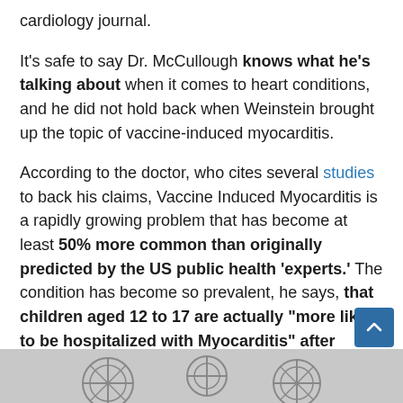cardiology journal.
It's safe to say Dr. McCullough knows what he's talking about when it comes to heart conditions, and he did not hold back when Weinstein brought up the topic of vaccine-induced myocarditis.
According to the doctor, who cites several studies to back his claims, Vaccine Induced Myocarditis is a rapidly growing problem that has become at least 50% more common than originally predicted by the US public health 'experts.' The condition has become so prevalent, he says, that children aged 12 to 17 are actually "more likely to be hospitalized with Myocarditis" after taking the vaccine than the virus itself.
[Figure (illustration): Partial bottom image showing decorative or medical illustration, partially cropped]